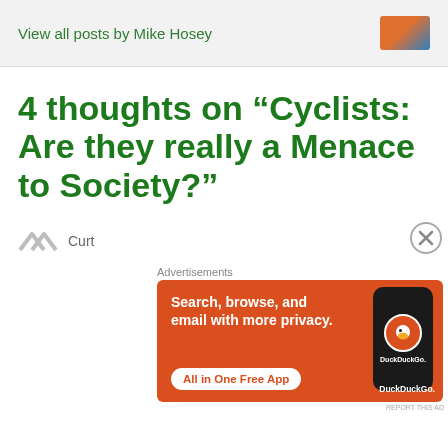View all posts by Mike Hosey
4 thoughts on “Cyclists: Are they really a Menace to Society?”
Curt
Advertisements
[Figure (screenshot): DuckDuckGo advertisement banner with orange background. Text: 'Search, browse, and email with more privacy. All in One Free App'. Shows a phone with DuckDuckGo logo.]